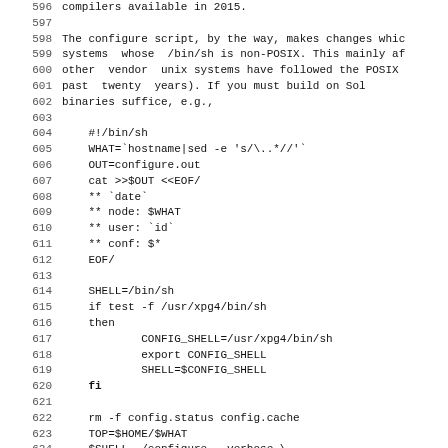Code listing lines 595-627 showing shell script configuration code
596: compilers available in 2015.
597: (blank)
598: The configure script, by the way, makes changes whic
599: systems  whose  /bin/sh is non-POSIX. This mainly af
600: other  vendor  unix systems have followed the POSIX
601: past  twenty  years). If you must build on Sol
602: binaries suffice, e.g.,
603: (blank)
604:     #!/bin/sh
605:     WHAT=`hostname|sed -e 's/\..*//'`
606:     OUT=configure.out
607:     cat >>$OUT <<EOF/
608:     ** `date`
609:     ** node: $WHAT
610:     ** user: `id`
611:     ** conf: $*
612:     EOF/
613: (blank)
614:     SHELL=/bin/sh
615:     if test -f /usr/xpg4/bin/sh
616:     then
617:             CONFIG_SHELL=/usr/xpg4/bin/sh
618:             export CONFIG_SHELL
619:             SHELL=$CONFIG_SHELL
620:     fi
621: (blank)
622:     rm -f config.status config.cache
623:     TOP=$HOME/$WHAT
624:     $SHELL ./configure --verbose \
625:             --disable-echo \
626:             --disable-overwrite \
627:             --enable-warnings \